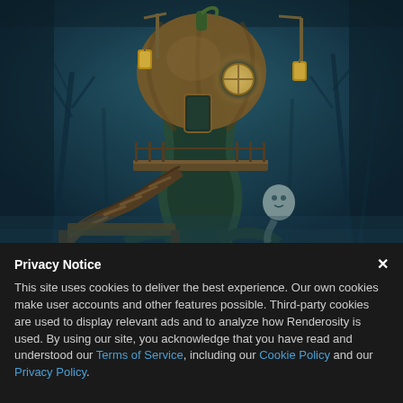[Figure (illustration): Digital 3D illustration of a fantastical pumpkin treehouse at night. A large pumpkin-shaped structure sits atop a twisted organic trunk/stalk. Wooden platforms and spiral staircases wind around the structure. The scene has a dark teal/blue-green atmospheric color. Lanterns hang from poles. A ghostly figure appears near the base. Misty, swampy background with bare trees.]
Privacy Notice
This site uses cookies to deliver the best experience. Our own cookies make user accounts and other features possible. Third-party cookies are used to display relevant ads and to analyze how Renderosity is used. By using our site, you acknowledge that you have read and understood our Terms of Service, including our Cookie Policy and our Privacy Policy.